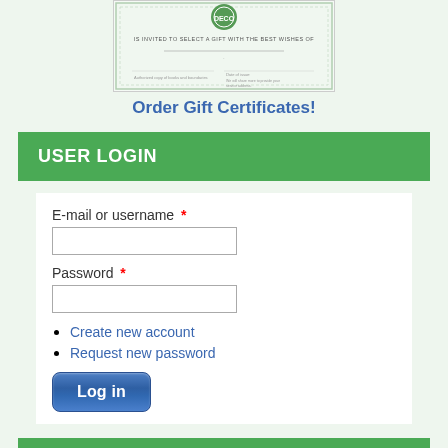[Figure (illustration): Gift certificate image with decorative border and text 'IS INVITED TO SELECT A GIFT WITH THE BEST WISHES OF']
Order Gift Certificates!
USER LOGIN
E-mail or username *
Password *
Create new account
Request new password
Log in
SEARCH FOR A WISH LIST
Search by name or e-mail